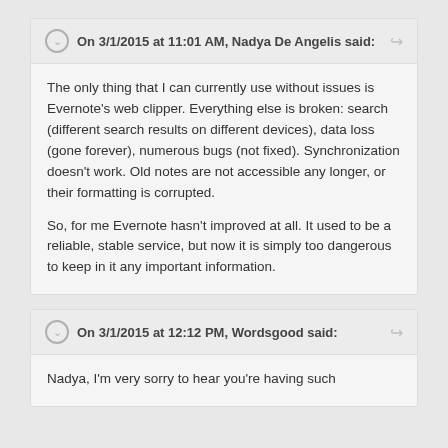On 3/1/2015 at 11:01 AM, Nadya De Angelis said:
The only thing that I can currently use without issues is Evernote's web clipper. Everything else is broken: search (different search results on different devices), data loss (gone forever), numerous bugs (not fixed). Synchronization doesn't work. Old notes are not accessible any longer, or their formatting is corrupted.

So, for me Evernote hasn't improved at all. It used to be a reliable, stable service, but now it is simply too dangerous to keep in it any important information.
On 3/1/2015 at 12:12 PM, Wordsgood said:
Nadya, I'm very sorry to hear you're having such